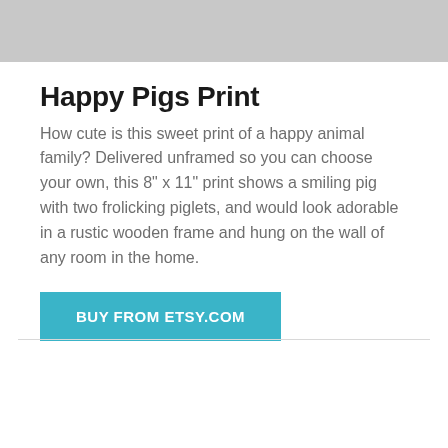[Figure (photo): Cropped top portion of a product photo showing a light gray/beige background, likely a framed print partially visible at top.]
Happy Pigs Print
How cute is this sweet print of a happy animal family? Delivered unframed so you can choose your own, this 8" x 11" print shows a smiling pig with two frolicking piglets, and would look adorable in a rustic wooden frame and hung on the wall of any room in the home.
BUY FROM ETSY.COM